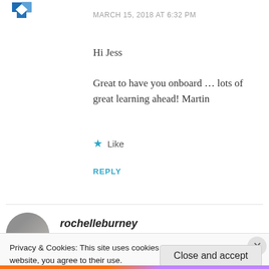[Figure (logo): Geometric blue and white diamond/square pattern logo in top left corner]
MARCH 15, 2018 AT 6:32 PM
Hi Jess
Great to have you onboard … lots of great learning ahead! Martin
★ Like
REPLY
rochelleburney
Privacy & Cookies: This site uses cookies. By continuing to use this website, you agree to their use.
To find out more, including how to control cookies, see here: Cookie Policy
Close and accept